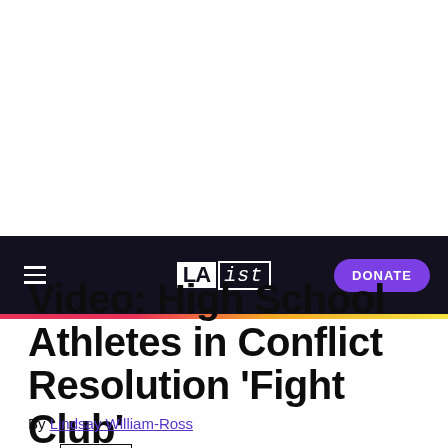LAist — DONATE
NEWS
Video: High School Athletes in Conflict Resolution 'Fight Club'
By Lindsay William-Ross